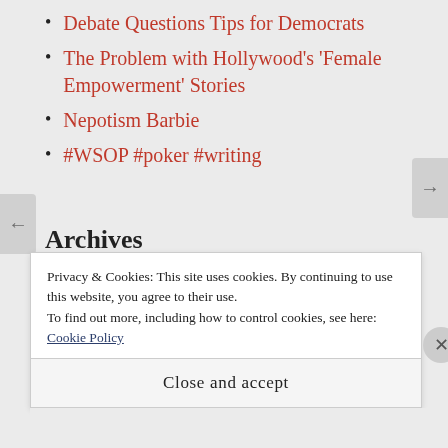Debate Questions Tips for Democrats
The Problem with Hollywood's 'Female Empowerment' Stories
Nepotism Barbie
#WSOP #poker #writing
Archives
Select Month
Privacy & Cookies: This site uses cookies. By continuing to use this website, you agree to their use.
To find out more, including how to control cookies, see here: Cookie Policy
Close and accept